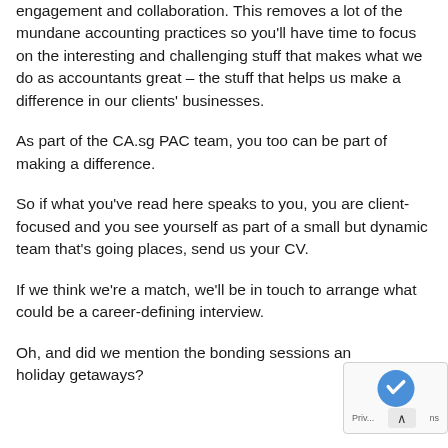engagement and collaboration. This removes a lot of the mundane accounting practices so you'll have time to focus on the interesting and challenging stuff that makes what we do as accountants great – the stuff that helps us make a difference in our clients' businesses.
As part of the CA.sg PAC team, you too can be part of making a difference.
So if what you've read here speaks to you, you are client-focused and you see yourself as part of a small but dynamic team that's going places, send us your CV.
If we think we're a match, we'll be in touch to arrange what could be a career-defining interview.
Oh, and did we mention the bonding sessions and holiday getaways?